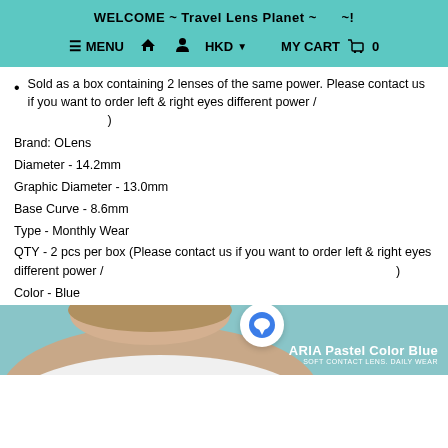WELCOME ~ Travel Lens Planet ~ ~!
MENU  HKD  MY CART  0
Sold as a box containing 2 lenses of the same power. Please contact us if you want to order left & right eyes different power / )
Brand: OLens
Diameter - 14.2mm
Graphic Diameter - 13.0mm
Base Curve - 8.6mm
Type - Monthly Wear
QTY - 2 pcs per box (Please contact us if you want to order left & right eyes different power / )
Color - Blue
[Figure (photo): Woman model wearing blue contact lenses, cropped at top of head, with ARIA Pastel Color Blue product label overlay]